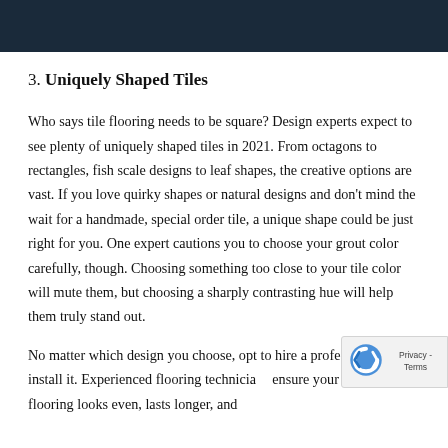3. Uniquely Shaped Tiles
Who says tile flooring needs to be square? Design experts expect to see plenty of uniquely shaped tiles in 2021. From octagons to rectangles, fish scale designs to leaf shapes, the creative options are vast. If you love quirky shapes or natural designs and don't mind the wait for a handmade, special order tile, a unique shape could be just right for you. One expert cautions you to choose your grout color carefully, though. Choosing something too close to your tile color will mute them, but choosing a sharply contrasting hue will help them truly stand out.
No matter which design you choose, opt to hire a professional to install it. Experienced flooring technicians ensure your chosen flooring looks even, lasts longer, and